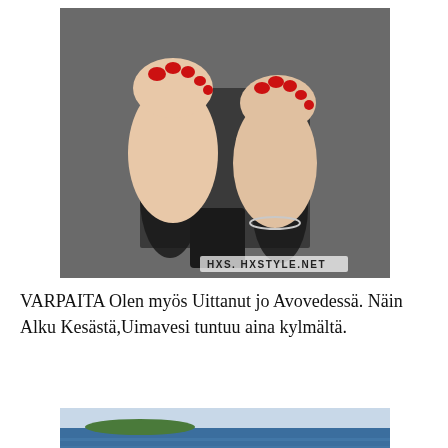[Figure (photo): A top-down photo of two bare feet with red toenail polish hovering over dark water/surface, with shadows and the watermark text HXS. HXSTYLE.NET visible at the bottom of the image. The right foot has a silver anklet.]
VARPAITA Olen myös Uittanut jo Avovedessä. Näin Alku Kesästä,Uimavesi tuntuu aina kylmältä.
[Figure (photo): A photo showing a lake or open water body with blue water, a small green island or shore visible in the background, and a slightly cloudy sky.]